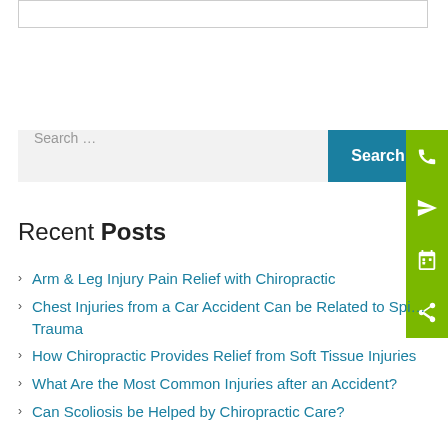Search ...
Recent Posts
Arm & Leg Injury Pain Relief with Chiropractic
Chest Injuries from a Car Accident Can be Related to Spinal Trauma
How Chiropractic Provides Relief from Soft Tissue Injuries
What Are the Most Common Injuries after an Accident?
Can Scoliosis be Helped by Chiropractic Care?